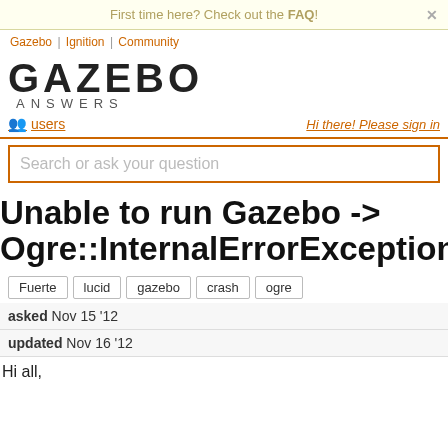First time here? Check out the FAQ!
Gazebo | Ignition | Community
GAZEBO ANSWERS
users
Hi there! Please sign in
Search or ask your question
Unable to run Gazebo -> Ogre::InternalErrorException
Fuerte lucid gazebo crash ogre
asked Nov 15 '12
updated Nov 16 '12
Hi all,